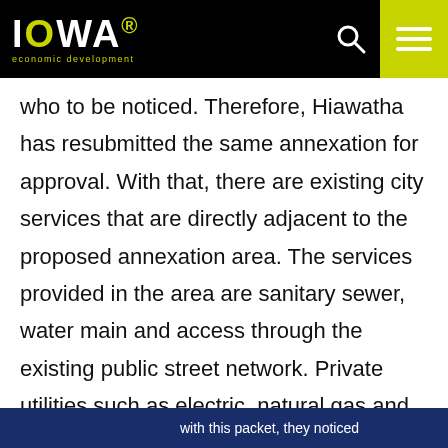Iowa Economic Development
who to be noticed. Therefore, Hiawatha has resubmitted the same annexation for approval. With that, there are existing city services that are directly adjacent to the proposed annexation area. The services provided in the area are sanitary sewer, water main and access through the existing public street network. Private utilities such as electric, natural gas and communications are also available for the proposed annexation area. The City of Hiawatha currently does not have an active annexation moratorium agreement with any city adjacent to Hiawatha's city boundaries. The proposed annexation does include adjoining roadways. The packet does appear to be complete
with this packet, they noticed